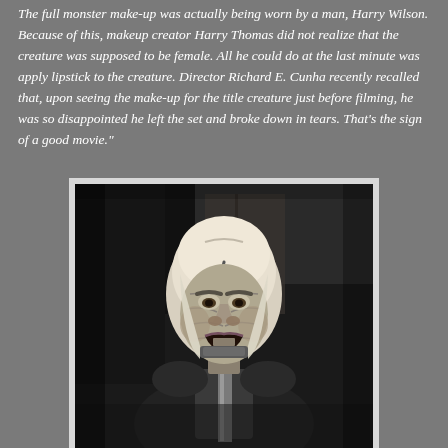The full monster make-up was actually being worn by a man, Harry Wilson. Because of this, makeup creator Harry Thomas did not realize that the creature was supposed to be female. All he could do at the last minute was apply lipstick to the creature. Director Richard E. Cunha recently recalled that, upon seeing the make-up for the title creature just before filming, he was so disappointed he left the set and broke down in tears. That's the sign of a good movie."
[Figure (photo): Black and white photograph of an actor in monster make-up wearing a white fabric hood/cap and dark metallic costume, with wrinkled face prosthetics and an open-mouthed expression.]